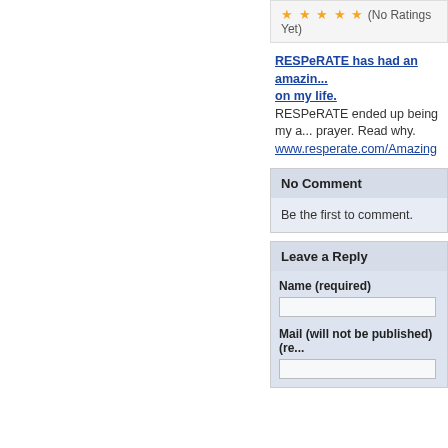(No Ratings Yet)
RESPeRATE has had an amazing... on my life.
RESPeRATE ended up being my a... prayer. Read why.
www.resperate.com/Amazing
No Comment
Be the first to comment.
Leave a Reply
Name (required)
Mail (will not be published) (re...